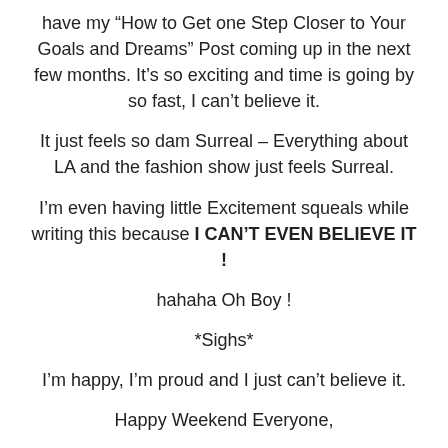have my “How to Get one Step Closer to Your Goals and Dreams” Post coming up in the next few months. It’s so exciting and time is going by so fast, I can’t believe it.
It just feels so dam Surreal – Everything about LA and the fashion show just feels Surreal.
I’m even having little Excitement squeals while writing this because I CAN’T EVEN BELIEVE IT !
hahaha Oh Boy !
*Sighs*
I’m happy, I’m proud and I just can’t believe it.
Happy Weekend Everyone,
Wherever you are in the world, The Life Of Rhy is there –